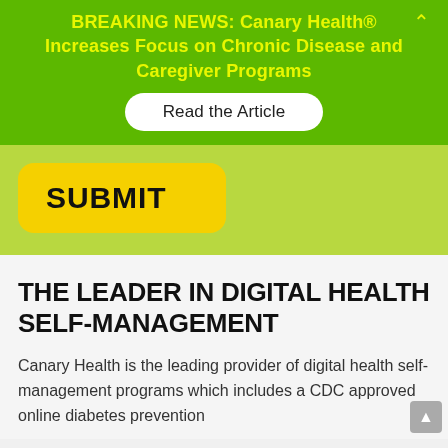BREAKING NEWS: Canary Health® Increases Focus on Chronic Disease and Caregiver Programs
Read the Article
SUBMIT
THE LEADER IN DIGITAL HEALTH SELF-MANAGEMENT
Canary Health is the leading provider of digital health self-management programs which includes a CDC approved online diabetes prevention